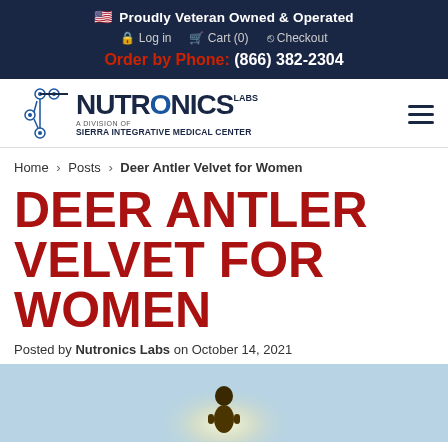🇺🇸 Proudly Veteran Owned & Operated | Log in | Cart (0) | Checkout | Order by Phone: (866) 382-2304
[Figure (logo): Nutronics Labs logo - A Division of Sierra Integrative Medical Center, with atomic/molecular graphic elements]
Home › Posts › Deer Antler Velvet for Women
DEER ANTLER VELVET FOR WOMEN
Posted by Nutronics Labs on October 14, 2021
[Figure (photo): Woman silhouetted against bright sky, appearing to be outdoors in natural setting]